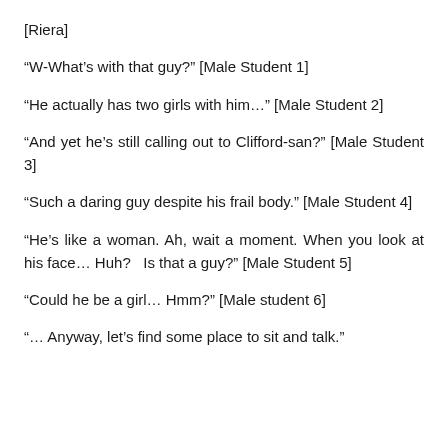[Riera]
“W-What’s with that guy?” [Male Student 1]
“He actually has two girls with him…” [Male Student 2]
“And yet he’s still calling out to Clifford-san?” [Male Student 3]
“Such a daring guy despite his frail body.” [Male Student 4]
“He’s like a woman. Ah, wait a moment. When you look at his face… Huh?   Is that a guy?” [Male Student 5]
“Could he be a girl… Hmm?” [Male student 6]
“… Anyway, let’s find some place to sit and talk.”